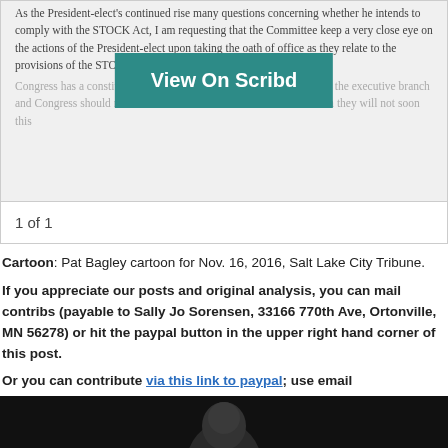[Figure (screenshot): Scribd document viewer showing text about President-elect and STOCK Act, with a 'View On Scribd' button overlay]
1 of 1
Cartoon: Pat Bagley cartoon for Nov. 16, 2016, Salt Lake City Tribune.
If you appreciate our posts and original analysis, you can mail contributions (payable to Sally Jo Sorensen, 33166 770th Ave, Ortonville, MN 56278) or hit the paypal button in the upper right hand corner of this post.
Or you can contribute via this link to paypal; use email sally.jo.sorensen as recipient.
Posted by Sally Jo Sorensen on Dec 22, 2016 at 11:17 AM in 2016 Elections, Congress, government, Tim Walz | Permalink | Comments (0)
Dec 21, 2016
Mankato native, Air Force vet & 1998 MNC candidate Duehring on Trump transition t
[Figure (photo): Dark photo strip at bottom of page showing partial face/portrait]